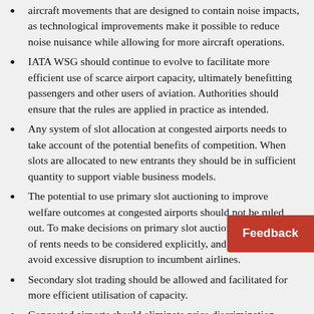aircraft movements that are designed to contain noise impacts, as technological improvements make it possible to reduce noise nuisance while allowing for more aircraft operations.
IATA WSG should continue to evolve to facilitate more efficient use of scarce airport capacity, ultimately benefitting passengers and other users of aviation. Authorities should ensure that the rules are applied in practice as intended.
Any system of slot allocation at congested airports needs to take account of the potential benefits of competition. When slots are allocated to new entrants they should be in sufficient quantity to support viable business models.
The potential to use primary slot auctioning to improve welfare outcomes at congested airports should not be ruled out. To make decisions on primary slot auctioning, the transfer of rents needs to be considered explicitly, and steps taken to avoid excessive disruption to incumbent airlines.
Secondary slot trading should be allowed and facilitated for more efficient utilisation of capacity.
Congested airports should eliminate price discrimination